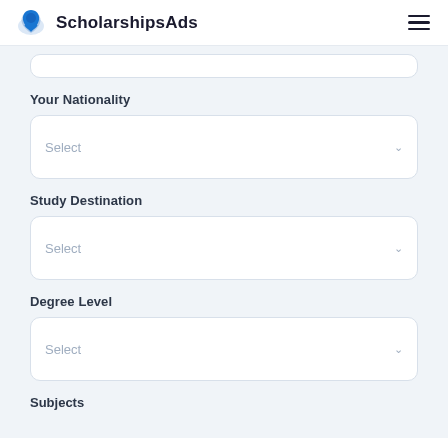ScholarshipsAds
Your Nationality
Select
Study Destination
Select
Degree Level
Select
Subjects